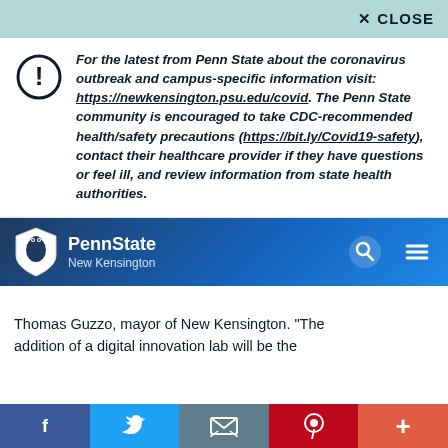✕ CLOSE
For the latest from Penn State about the coronavirus outbreak and campus-specific information visit: https://newkensington.psu.edu/covid. The Penn State community is encouraged to take CDC-recommended health/safety precautions (https://bit.ly/Covid19-safety), contact their healthcare provider if they have questions or feel ill, and review information from state health authorities.
[Figure (logo): Penn State New Kensington navigation bar with lion shield logo, search icon, and hamburger menu icon]
Thomas Guzzo, mayor of New Kensington. "The addition of a digital innovation lab will be the
f  Twitter  Email  Pinterest  +